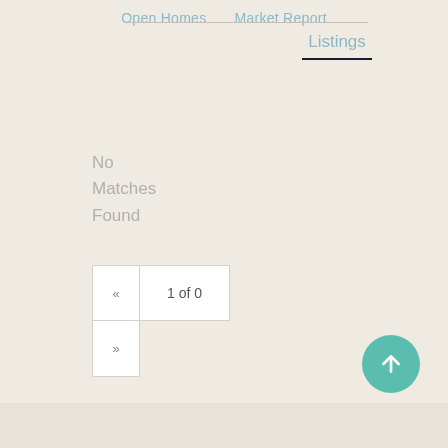Open Homes  Market Report
Listings
No Matches Found
« 1 of 0 »